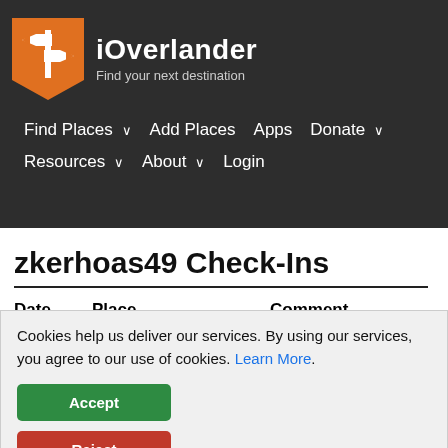iOverlander – Find your next destination
Find Places ∨   Add Places   Apps   Donate ∨
Resources ∨   About ∨   Login
zkerhoas49 Check-Ins
| Date | Place | Comment |
| --- | --- | --- |
Cookies help us deliver our services. By using our services, you agree to our use of cookies. Learn More.
Accept
Reject